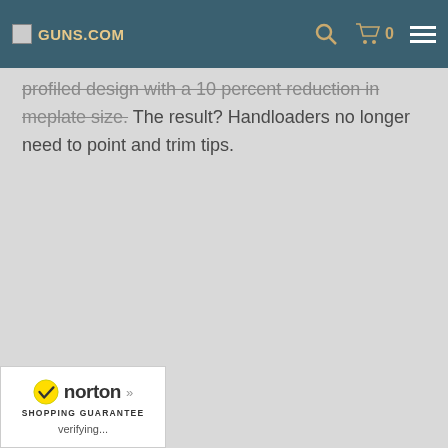[site logo] [search icon] [cart icon] 0 [menu icon]
profiled design with a 10 percent reduction in meplate size. The result? Handloaders no longer need to point and trim tips.
[Figure (logo): Norton Shopping Guarantee badge with checkmark, brand name, and 'verifying...' text]